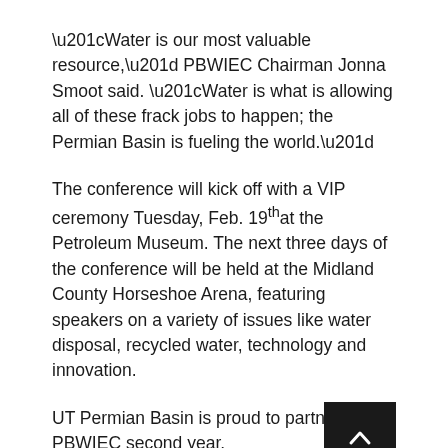“Water is our most valuable resource,” PBWIEC Chairman Jonna Smoot said. “Water is what is allowing all of these frack jobs to happen; the Permian Basin is fueling the world.”
The conference will kick off with a VIP ceremony Tuesday, Feb. 19th at the Petroleum Museum. The next three days of the conference will be held at the Midland County Horseshoe Arena, featuring speakers on a variety of issues like water disposal, recycled water, technology and innovation.
UT Permian Basin is proud to partner with PBWIEC second year.
“We understand the value of water in our region and the